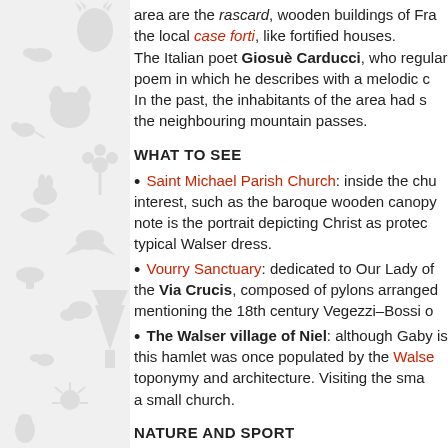[Figure (illustration): Decorative left panel with light grey animal and nature silhouette illustrations on a light grey background]
area are the rascard, wooden buildings of Fra... the local case forti, like fortified houses. The Italian poet Giosuè Carducci, who regularly... poem in which he describes with a melodic c... In the past, the inhabitants of the area had s... the neighbouring mountain passes.
WHAT TO SEE
Saint Michael Parish Church: inside the chu... interest, such as the baroque wooden canop... note is the portrait depicting Christ as protec... typical Walser dress.
Vourry Sanctuary: dedicated to Our Lady of... the Via Crucis, composed of pylons arranged... mentioning the 18th century Vegezzi-Bossi o...
The Walser village of Niel: although Gaby is... this hamlet was once populated by the Walse... toponymy and architecture. Visiting the sma... a small church.
NATURE AND SPORT
In Gaby, summer sports are the main attract... landscapes. For example, starting from the vi...